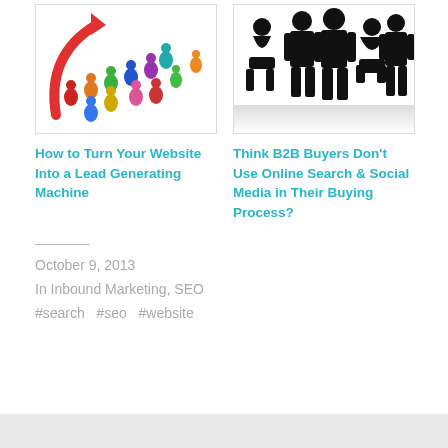[Figure (illustration): Colorful cartoon people figures arranged in a curved flow, with a red curved arrow, representing lead generation or marketing funnel.]
[Figure (illustration): Black silhouettes of business people — some standing, some seated — in a professional meeting/group setting on a white background with subtle reflection.]
How to Turn Your Website Into a Lead Generating Machine
Think B2B Buyers Don’t Use Online Search & Social Media in Their Buying Process?
October 9, 2013
In Inbound Marketing, SEO
#search  #seo  #website